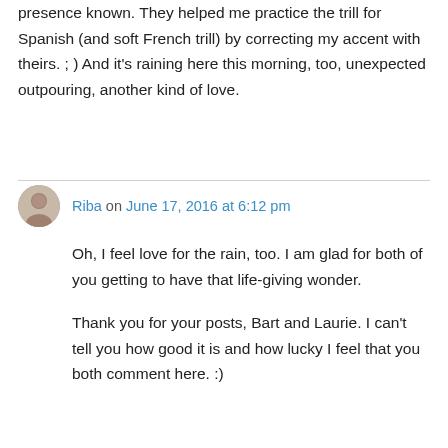presence known. They helped me practice the trill for Spanish (and soft French trill) by correcting my accent with theirs. ; ) And it's raining here this morning, too, unexpected outpouring, another kind of love.
Riba on June 17, 2016 at 6:12 pm
Oh, I feel love for the rain, too. I am glad for both of you getting to have that life-giving wonder.
Thank you for your posts, Bart and Laurie. I can't tell you how good it is and how lucky I feel that you both comment here. :)